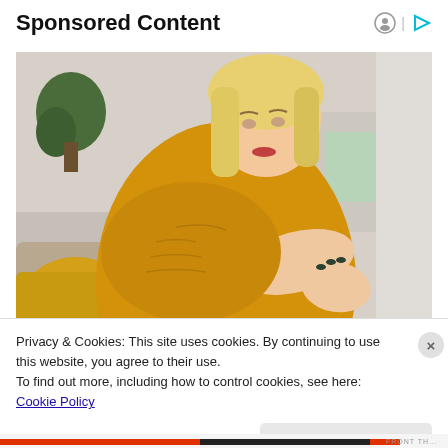Sponsored Content
[Figure (photo): Woman in yellow knitted sweater looking at her arm/elbow with a concerned expression, sitting on a couch]
Privacy & Cookies: This site uses cookies. By continuing to use this website, you agree to their use.
To find out more, including how to control cookies, see here: Cookie Policy
Close and accept